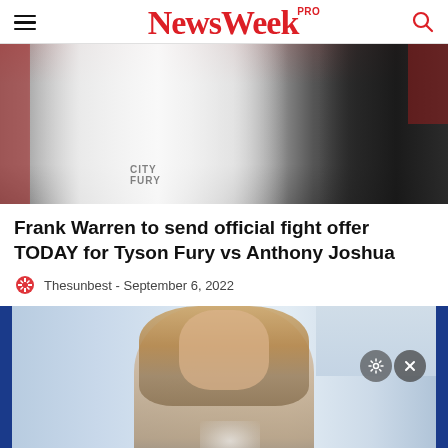NewsWeek PRO
[Figure (photo): Boxing scene with a fighter in a white robe and a man in a dark suit, with red-clad figures in background]
Frank Warren to send official fight offer TODAY for Tyson Fury vs Anthony Joshua
Thesunbest - September 6, 2022
[Figure (photo): Woman with long hair in front of blue-framed glass window, with a close/X button overlay]